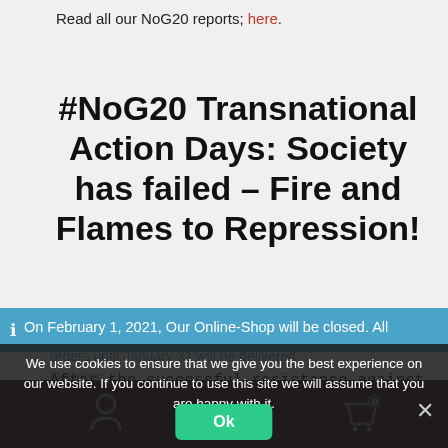Read all our NoG20 reports; here.
#NoG20 Transnational Action Days: Society has failed – Fire and Flames to Repression!
After the successful resistance against the politics of the G20 this summer, we are calling for days of action in the
On February 1, 2021, Our Online-Shop will be closed. All
orders until January 31 will be delivered
Dismiss
We use cookies to ensure that we give you the best experience on our website. If you continue to use this site we will assume that you are happy with it.
Ok